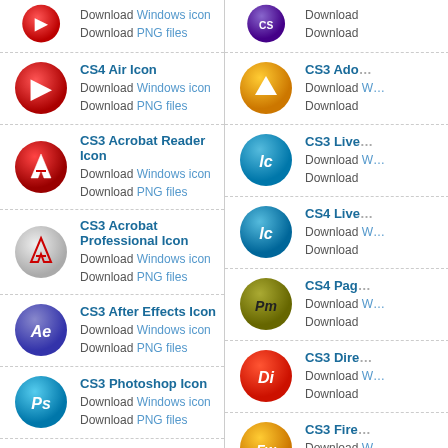Download Windows icon
Download PNG files
Download Windows icon
Download (truncated)
CS4 Air Icon
Download Windows icon
Download PNG files
CS3 Ado... Download (truncated)
CS3 Acrobat Reader Icon
Download Windows icon
Download PNG files
CS3 Live... Download (truncated)
CS3 Acrobat Professional Icon
Download Windows icon
Download PNG files
CS4 Live... Download (truncated)
CS3 After Effects Icon
Download Windows icon
Download PNG files
CS4 Pag... Download (truncated)
CS3 Photoshop Icon
Download Windows icon
Download PNG files
CS3 Dire... Download (truncated)
CS4 Bridge Icon
Download Windows icon
Download PNG files
CS3 Fire... Download (truncated)